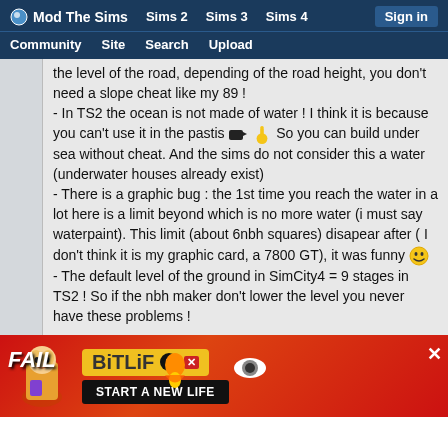Mod The Sims | Sims 2 | Sims 3 | Sims 4 | Sign in | Community | Site | Search | Upload
the level of the road, depending of the road height, you don't need a slope cheat like my 89 !
- In TS2 the ocean is not made of water ! I think it is because you can't use it in the pastis 🍺🍋 So you can build under sea without cheat. And the sims do not consider this a water (underwater houses already exist)
- There is a graphic bug : the 1st time you reach the water in a lot here is a limit beyond which is no more water (i must say waterpaint). This limit (about 6nbh squares) disapear after ( I don't think it is my graphic card, a 7800 GT), it was funny 😊
- The default level of the ground in SimCity4 = 9 stages in TS2 ! So if the nbh maker don't lower the level you never have these problems !
2 images to illustrate my remarks:
[Figure (photo): Partial view of two in-game screenshots side by side, cut off at bottom]
[Figure (other): BitLife advertisement banner with 'FAIL' text, cartoon girl, fire, and 'START A NEW LIFE' tagline]